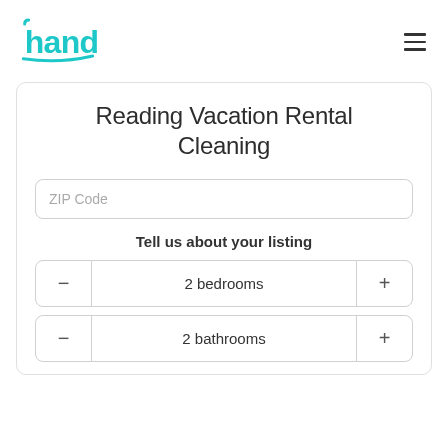[Figure (logo): Handy logo in cyan/teal color with stylized text]
Reading Vacation Rental Cleaning
ZIP Code
Tell us about your listing
2 bedrooms
2 bathrooms